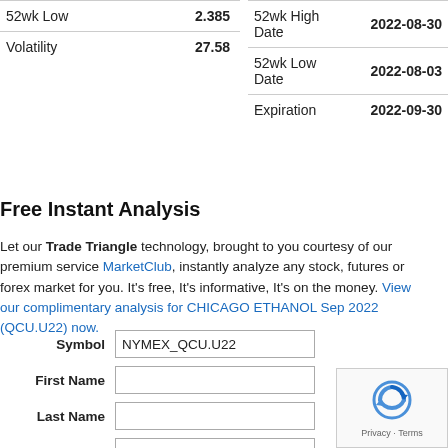|  |  |
| --- | --- |
| 52wk Low | 2.385 |
| Volatility | 27.58 |
|  |  |
| --- | --- |
| 52wk High Date | 2022-08-30 |
| 52wk Low Date | 2022-08-03 |
| Expiration | 2022-09-30 |
Free Instant Analysis
Let our Trade Triangle technology, brought to you courtesy of our premium service MarketClub, instantly analyze any stock, futures or forex market for you. It's free, It's informative, It's on the money. View our complimentary analysis for CHICAGO ETHANOL Sep 2022 (QCU.U22) now.
| Label | Input |
| --- | --- |
| Symbol | NYMEX_QCU.U22 |
| First Name |  |
| Last Name |  |
| Email |  |